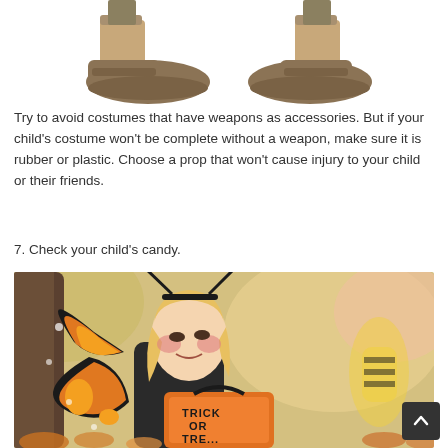[Figure (photo): Cropped image of a person's legs and shoes, showing two sets of feet in sneakers against a white background — partial view at top of page]
Try to avoid costumes that have weapons as accessories. But if your child's costume won't be complete without a weapon, make sure it is rubber or plastic. Choose a prop that won't cause injury to your child or their friends.
7. Check your child's candy.
[Figure (photo): A child dressed in a monarch butterfly Halloween costume with orange and black wings and antenna headband, wearing face paint, looking down at an orange trick-or-treat bag with 'TRICK OR TRE...' visible. Autumn leaves and blurry background with another costumed child visible.]